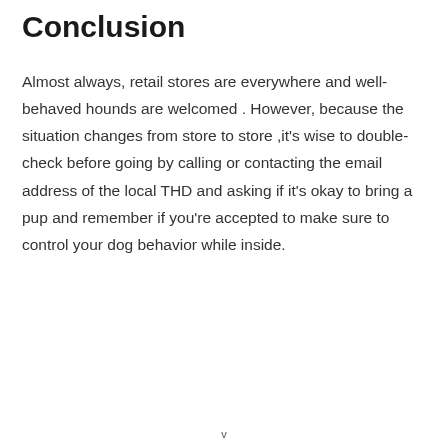Conclusion
Almost always, retail stores are everywhere and well-behaved hounds are welcomed . However, because the situation changes from store to store ,it's wise to double-check before going by calling or contacting the email address of the local THD and asking if it's okay to bring a pup and remember if you're accepted to make sure to control your dog behavior while inside.
v